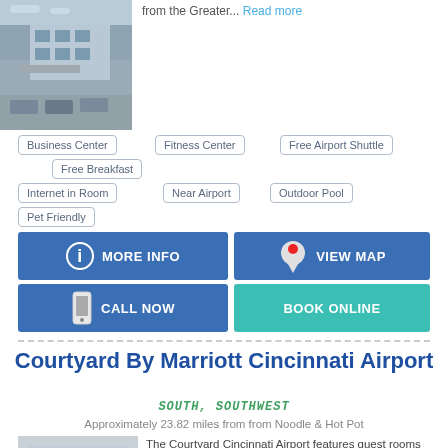[Figure (photo): Exterior photo of a hotel with parking lot]
from the Greater... Read more
Business Center
Fitness Center
Free Airport Shuttle
Free Breakfast
Internet in Room
Near Airport
Outdoor Pool
Pet Friendly
MORE INFO
VIEW MAP
CALL NOW
BOOK ONLINE
Courtyard By Marriott Cincinnati Airport
SOUTH, SOUTHWEST
Approximately 23.82 miles from from Noodle & Hot Pot
[Figure (photo): Interior hotel room photo]
The Courtyard Cincinnati Airport features guest rooms with complimentary high-speed Internet, large work desk, complimentary weekday newspaper, luxurious bedding, and... Read more